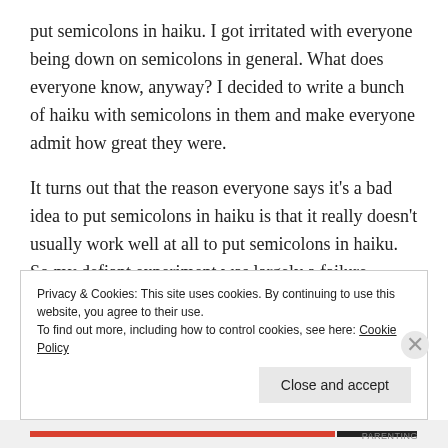put semicolons in haiku. I got irritated with everyone being down on semicolons in general. What does everyone know, anyway? I decided to write a bunch of haiku with semicolons in them and make everyone admit how great they were.
It turns out that the reason everyone says it's a bad idea to put semicolons in haiku is that it really doesn't usually work well at all to put semicolons in haiku. So my defiant experiment was largely a failure. Except for this one. I kind of like this one. And it has five semicolons in it. In case you hadn't counted.
Privacy & Cookies: This site uses cookies. By continuing to use this website, you agree to their use. To find out more, including how to control cookies, see here: Cookie Policy
Close and accept